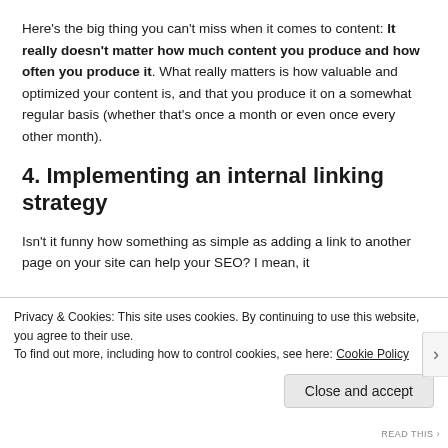Here's the big thing you can't miss when it comes to content: It really doesn't matter how much content you produce and how often you produce it. What really matters is how valuable and optimized your content is, and that you produce it on a somewhat regular basis (whether that's once a month or even once every other month).
4. Implementing an internal linking strategy
Isn't it funny how something as simple as adding a link to another page on your site can help your SEO? I mean, it
Privacy & Cookies: This site uses cookies. By continuing to use this website, you agree to their use.
To find out more, including how to control cookies, see here: Cookie Policy